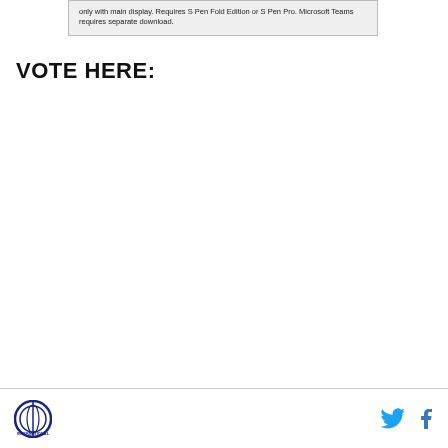only with main display. Requires S Pen Fold Edition or S Pen Pro. Microsoft Teams requires separate download.
VOTE HERE:
Logo and social media icons (Twitter, Facebook)